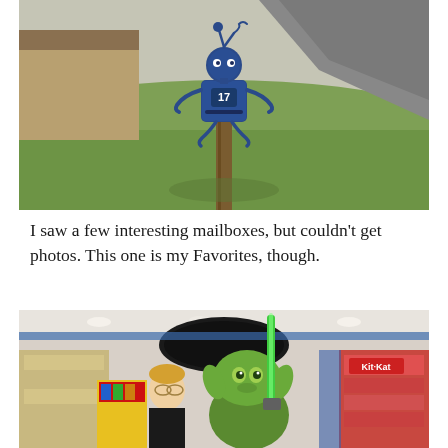[Figure (photo): Outdoor photo of a creative robot-shaped mailbox with the number 17 on it, mounted on a wooden post, surrounded by green grass and a driveway in the background.]
I saw a few interesting mailboxes, but couldn't get photos. This one is my Favorites, though.
[Figure (photo): Indoor photo of a toy or souvenir store with a person posing next to a large Yoda mascot costume holding a green lightsaber. Store shelves with merchandise visible in background, including Kit-Kat branding.]